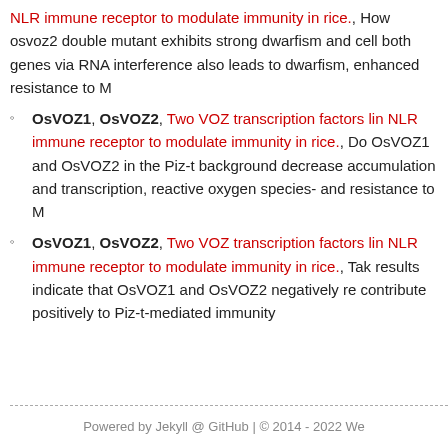NLR immune receptor to modulate immunity in rice., However, osvoz2 double mutant exhibits strong dwarfism and cell both genes via RNA interference also leads to dwarfism, enhanced resistance to M
OsVOZ1, OsVOZ2, Two VOZ transcription factors link NLR immune receptor to modulate immunity in rice., Double OsVOZ1 and OsVOZ2 in the Piz-t background decrease accumulation and transcription, reactive oxygen species- and resistance to M
OsVOZ1, OsVOZ2, Two VOZ transcription factors link NLR immune receptor to modulate immunity in rice., Taken results indicate that OsVOZ1 and OsVOZ2 negatively re contribute positively to Piz-t-mediated immunity
Powered by Jekyll @ GitHub | © 2014 - 2022 We